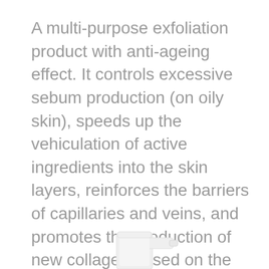A multi-purpose exfoliation product with anti-ageing effect. It controls excessive sebum production (on oily skin), speeds up the vehiculation of active ingredients into the skin layers, reinforces the barriers of capillaries and veins, and promotes the production of new collagen based on the fibroblast activity. It can be used on face and body area.
[Figure (photo): Partial view of a white pump dispenser bottle cap/nozzle against a white background]